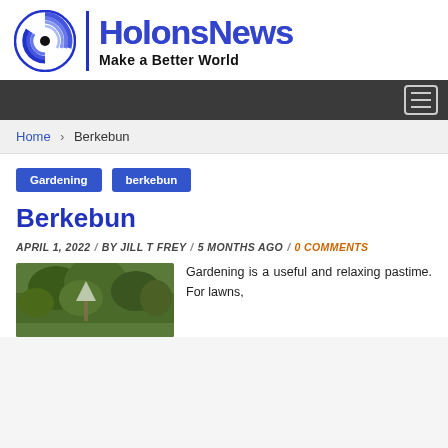[Figure (logo): HolonsNews logo with spiral eye icon, vertical blue divider, 'HolonsNews' in blue gradient text, and tagline 'Make a Better World' in black bold]
Navigation bar with hamburger menu icon
Home > Berkebun
Gardening   berkebun
Berkebun
APRIL 1, 2022 / BY JILL T FREY / 5 MONTHS AGO / 0 COMMENTS
[Figure (photo): Garden photo showing lush green trees and plants]
Gardening is a useful and relaxing pastime. For lawns,